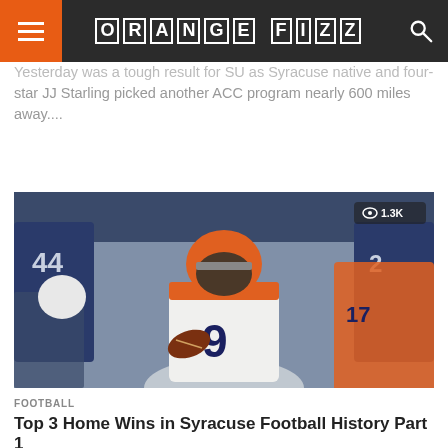ORANGE FIZZ
Yesterday was a tough result for SU as Syracuse native and four-star JJ Starling picked another ACC program nearly 600 miles away....
[Figure (photo): Football player wearing jersey number 9 in white and orange Syracuse uniform running with the ball, surrounded by opposing players in dark blue uniforms. View count badge showing 1.3K in upper right corner.]
FOOTBALL
Top 3 Home Wins in Syracuse Football History Part 1